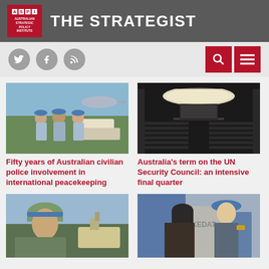THE STRATEGIST — Australian Strategic Policy Institute
[Figure (screenshot): Social media icons: Twitter, Facebook, RSS feed on grey nav bar with red search and menu buttons on right]
[Figure (photo): Three men in UN peacekeeping blue shirts and blue berets standing together outdoors near aircraft]
[Figure (photo): Black and white photo of UN Security Council chamber interior with rows of chairs and a large circular light fixture]
Fifty years of Australian civilian police involvement in international peacekeeping
Australia’s term on the UN Security Council: an intensive final quarter
[Figure (photo): Soldier in military uniform and blue UN helmet standing outdoors near construction equipment]
[Figure (photo): Female UN peacekeeper in blue uniform speaking with an elderly woman in headscarf near blue building]